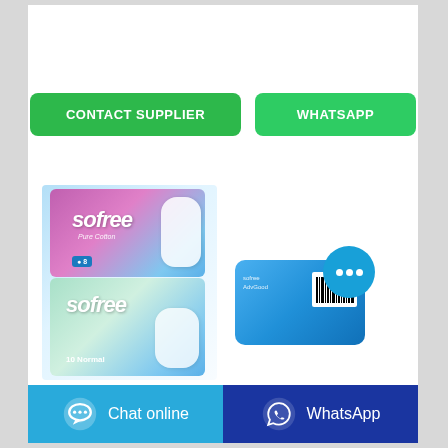[Figure (screenshot): CONTACT SUPPLIER green button and WHATSAPP green button side by side]
[Figure (photo): Sofree sanitary pad product packages - two stacked packs (Pure Cotton night 8pcs and normal 10pcs) on left, blue back-of-pack on right with barcode, and blue circular chat button]
[Figure (screenshot): Bottom bar with two buttons: Chat online (light blue) and WhatsApp (dark blue)]